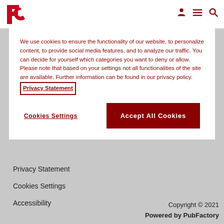[Figure (logo): FC logo in red at top left of header]
We use cookies to ensure the functionality of our website, to personalize content, to provide social media features, and to analyze our traffic. You can decide for yourself which categories you want to deny or allow. Please note that based on your settings not all functionalities of the site are available. Further information can be found in our privacy policy. Privacy Statement
Cookies Settings
Accept All Cookies
Privacy Statement
Cookies Settings
Accessibility
Copyright © 2021
Powered by PubFactory